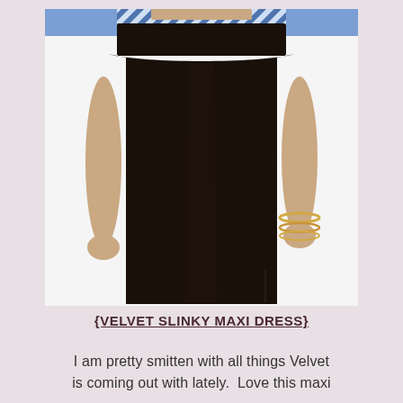[Figure (photo): A woman wearing a black Velvet Slinky Maxi Dress with a blue and white patterned top, shown from chest to hem. She has gold bracelets on her right wrist. The dress has a wide waistband and a flowing black skirt.]
{VELVET SLINKY MAXI DRESS}
I am pretty smitten with all things Velvet is coming out with lately. Love this maxi